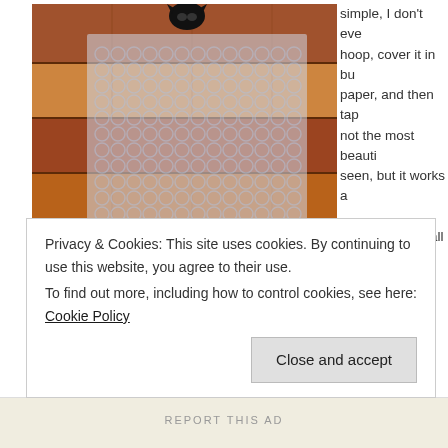[Figure (photo): A black cat sitting on bubble wrap spread on a hardwood floor, viewed from above.]
simple, I don't even... hoop, cover it in bubble paper, and then tap... not the most beauti... seen, but it works a...
If I was to ship all th... need a pretty large... found at Home Depot probably won't be tall enough to even fit all 12 in... need at least 2. I used the price calculator at USPS and it estimated th... 22 x 21.5) would cost $90… yikes! So now I'm trying to figure out if I ca... else like FedEx or UPS at a cheaper price and if it would cost more/les... multiple packages. I wonder if I could use my current packaging metho... together. That would make 6 separate packages at the most and woul... believe.
Privacy & Cookies: This site uses cookies. By continuing to use this website, you agree to their use.
To find out more, including how to control cookies, see here: Cookie Policy
Close and accept